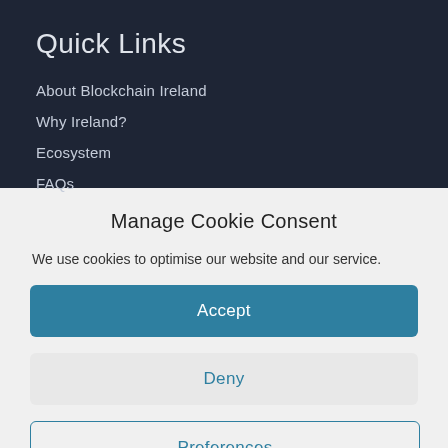Quick Links
About Blockchain Ireland
Why Ireland?
Ecosystem
FAQs
Manage Cookie Consent
We use cookies to optimise our website and our service.
Accept
Deny
Preferences